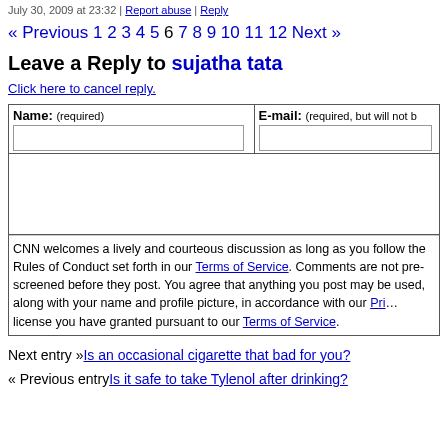July 30, 2009 at 23:32 | Report abuse | Reply
« Previous 1 2 3 4 5 6 7 8 9 10 11 12 Next »
Leave a Reply to sujatha tata
Click here to cancel reply.
| Name: (required) | E-mail: (required, but will not be published) |
| --- | --- |
| [input] | [input] |
CNN welcomes a lively and courteous discussion as long as you follow the Rules of Conduct set forth in our Terms of Service. Comments are not pre-screened before they post. You agree that anything you post may be used, along with your name and profile picture, in accordance with our Privacy Policy and the license you have granted pursuant to our Terms of Service.
Next entry »Is an occasional cigarette that bad for you?
« Previous entryIs it safe to take Tylenol after drinking?